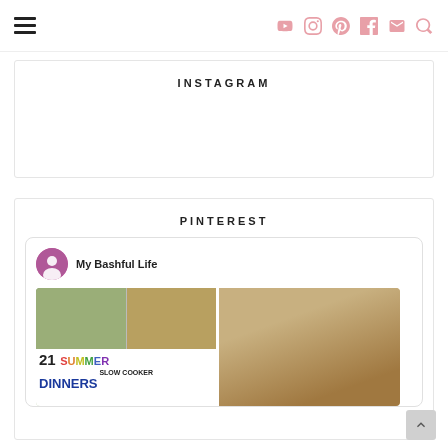Navigation bar with hamburger menu and social media icons (YouTube, Instagram, Pinterest, Facebook, Mail, Search)
INSTAGRAM
PINTEREST
[Figure (screenshot): Pinterest widget card showing 'My Bashful Life' profile with avatar and two pinned images: one with '21 SUMMER SLOW COOKER DINNERS' colorful text overlay on food photos, one showing sliced bread.]